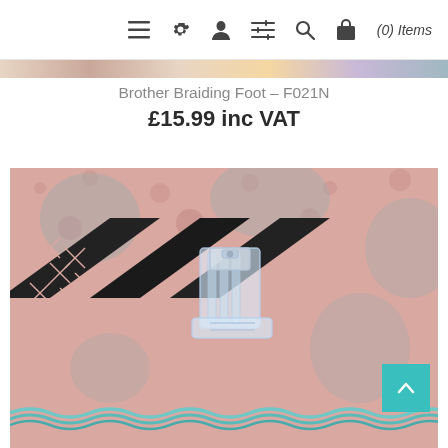(0) Items
Brother Braiding Foot – F021N
£15.99 inc VAT
[Figure (photo): Close-up photo of a transparent Brother Braiding Foot (F021N) sewing machine presser foot resting on pink fabric with black diagonal stripe and decorative stitching. Blue/teal braided trim visible at bottom.]